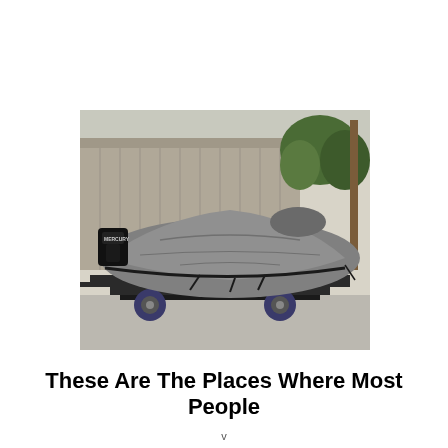[Figure (photo): A boat covered with a gray tarp/cover sitting on a trailer, parked on a paved surface. A Mercury outboard motor is visible at the back. In the background are a metal building with vertical siding and green trees. The trailer has blue wheels.]
These Are The Places Where Most People
v